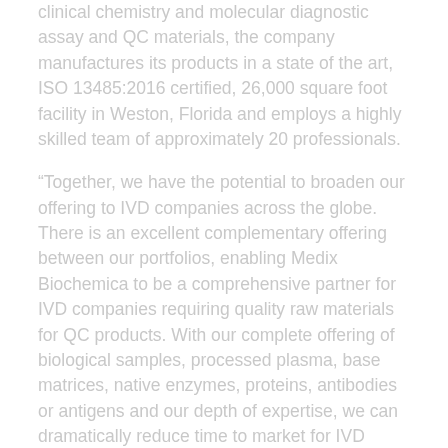clinical chemistry and molecular diagnostic assay and QC materials, the company manufactures its products in a state of the art, ISO 13485:2016 certified, 26,000 square foot facility in Weston, Florida and employs a highly skilled team of approximately 20 professionals.
“Together, we have the potential to broaden our offering to IVD companies across the globe. There is an excellent complementary offering between our portfolios, enabling Medix Biochemica to be a comprehensive partner for IVD companies requiring quality raw materials for QC products. With our complete offering of biological samples, processed plasma, base matrices, native enzymes, proteins, antibodies or antigens and our depth of expertise, we can dramatically reduce time to market for IVD companies, and boost their speed. Organisations